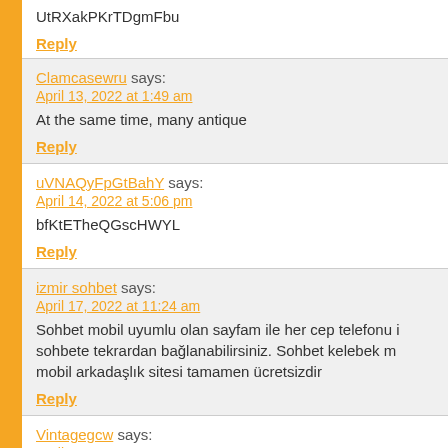UtRXakPKrTDgmFbu
Reply
Clamcasewru says:
April 13, 2022 at 1:49 am
At the same time, many antique
Reply
uVNAQyFpGtBahY says:
April 14, 2022 at 5:06 pm
bfKtETheQGscHWYL
Reply
izmir sohbet says:
April 17, 2022 at 11:24 am
Sohbet mobil uyumlu olan sayfam ile her cep telefonu i... sohbete tekrardan bağlanabilirsiniz. Sohbet kelebek m... mobil arkadaşlık sitesi tamamen ücretsizdir
Reply
Vintagegcw says:
April 19, 2022 at 11:51 am